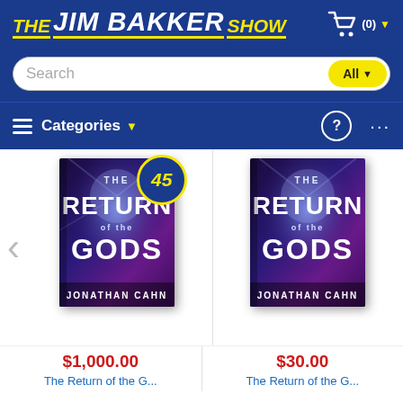THE JIM BAKKER SHOW
Search | All
Categories
[Figure (illustration): Book cover: The Return of the Gods by Jonathan Cahn, with a badge showing 45]
$1,000.00
The Return of the G...
[Figure (illustration): Book cover: The Return of the Gods by Jonathan Cahn]
$30.00
The Return of the G...